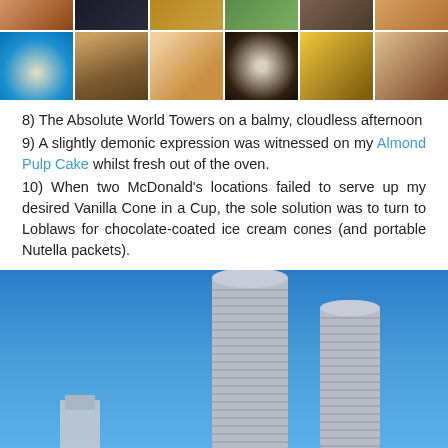[Figure (photo): Top strip of 6 food/drink photos in a horizontal grid row]
[Figure (photo): Second row of 6 food/drink/cafe photos in a horizontal grid row]
8) The Absolute World Towers on a balmy, cloudless afternoon
9) A slightly demonic expression was witnessed on my Almond Pulp Cake whilst fresh out of the oven.
10) When two McDonald's locations failed to serve up my desired Vanilla Cone in a Cup, the sole solution was to turn to Loblaws for chocolate-coated ice cream cones (and portable Nutella packets).
[Figure (photo): Photo of the Absolute World Towers (two curved skyscrapers) against a blue sky, viewed from below looking up]